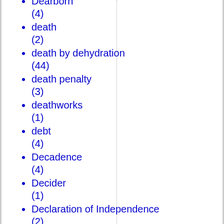Dearborn (4)
death (2)
death by dehydration (44)
death penalty (3)
deathworks (1)
debt (4)
Decadence (4)
Decider (1)
Declaration of Independence (2)
decline (2)